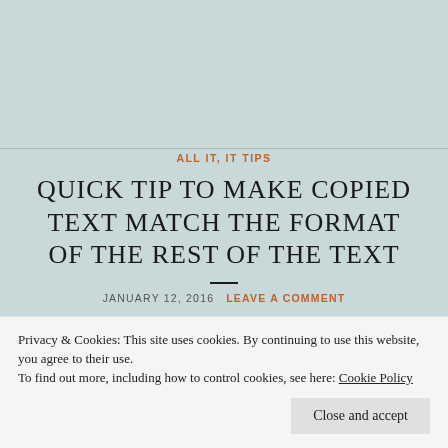ALL IT, IT TIPS
QUICK TIP TO MAKE COPIED TEXT MATCH THE FORMAT OF THE REST OF THE TEXT
JANUARY 12, 2016   LEAVE A COMMENT
Privacy & Cookies: This site uses cookies. By continuing to use this website, you agree to their use.
To find out more, including how to control cookies, see here: Cookie Policy
Close and accept